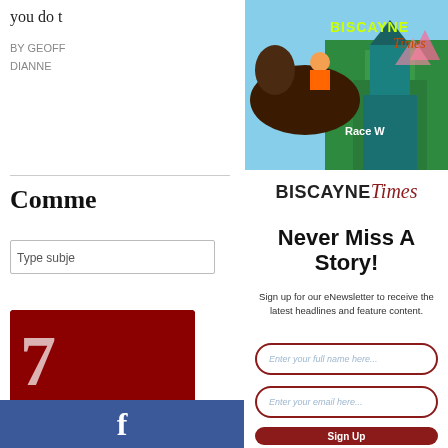you do t
BY GEOFF
DIANNE
Comme
Type subje
[Figure (photo): Biscayne Times magazine cover showing horse racing jockey and racetrack tower with palm trees]
BISCAYNE Times
Never Miss A Story!
Sign up for our eNewsletter to receive the latest headlines and feature content.
Enter your full name here...
Enter your email here...
Sign Up